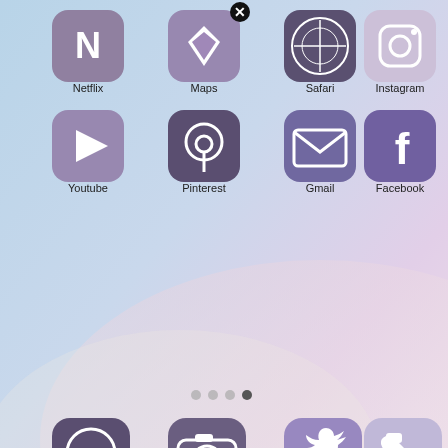[Figure (screenshot): iPhone home screen screenshot showing purple aesthetic app icons in a grid: Netflix, Maps, Safari, Instagram (row 1); Youtube, Pinterest, Gmail, Facebook (row 2); page indicator dots; dock with Messages, Camera, Twitter, Phone icons. Background is a soft pastel blue/lavender gradient with subtle mountain shapes.]
Purple Spring Bloom 50 Pack Aesthetic Iphone Ios14 App Icons App Icon Iphone App Design Iphone Wallpaper App